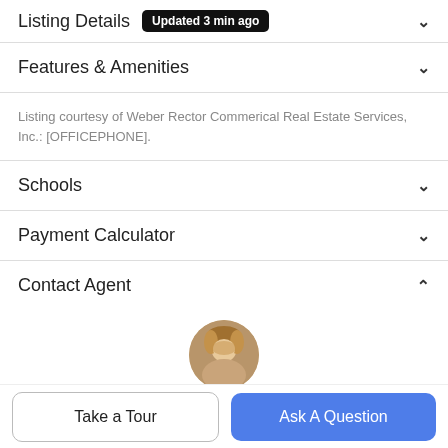Listing Details Updated 3 min ago
Features & Amenities
Listing courtesy of Weber Rector Commerical Real Estate Services, Inc.: [OFFICEPHONE].
Schools
Payment Calculator
Contact Agent
[Figure (photo): Circular profile photo of a female real estate agent with blonde hair]
Take a Tour
Ask A Question